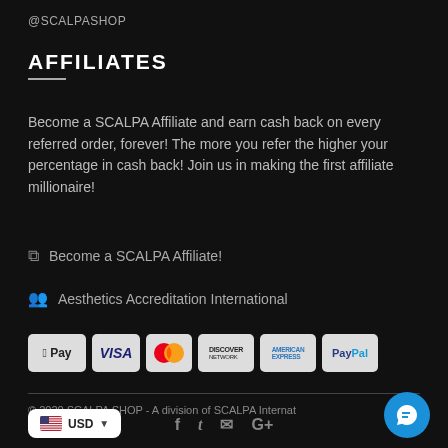@SCALPASHOP
AFFILIATES
Become a SCALPA Affiliate and earn cash back on every referred order, forever! The more you refer the higher your percentage in cash back! Join us in making the first affiliate millionaire!
Become a SCALPA Affiliate!
Aesthetics Accreditation International
[Figure (other): Payment method icons: Apple Pay, VISA, Mastercard, Discover, American Express, PayPal]
© 2020 SCALPA SHOP - A division of SCALPA Internat...
[Figure (other): USD currency selector with US flag]
[Figure (other): Social icons: Facebook, Twitter, Email, Google+]
[Figure (other): Blue chat bubble button]